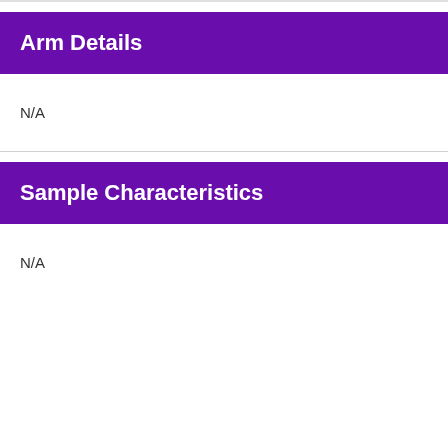Arm Details
N/A
Sample Characteristics
N/A